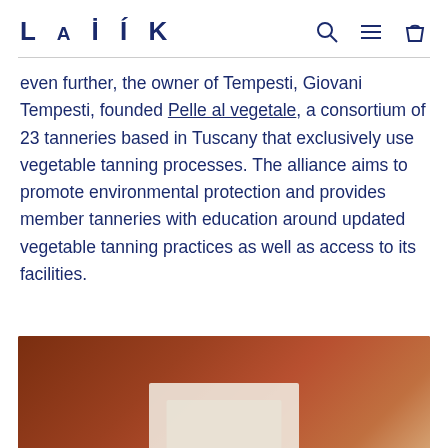LAIK
even further, the owner of Tempesti, Giovani Tempesti, founded Pelle al vegetale, a consortium of 23 tanneries based in Tuscany that exclusively use vegetable tanning processes. The alliance aims to promote environmental protection and provides member tanneries with education around updated vegetable tanning practices as well as access to its facilities.
[Figure (photo): A warm terracotta/rust-colored background with what appears to be cream-colored objects (possibly leather goods or papers) at the bottom center of the image.]